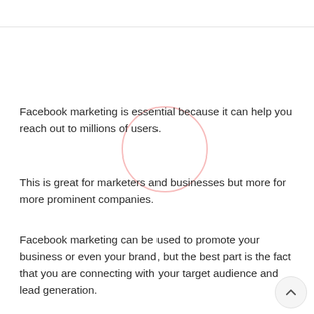Facebook marketing is essential because it can help you reach out to millions of users.
This is great for marketers and businesses but more for more prominent companies.
Facebook marketing can be used to promote your business or even your brand, but the best part is the fact that you are connecting with your target audience and lead generation.